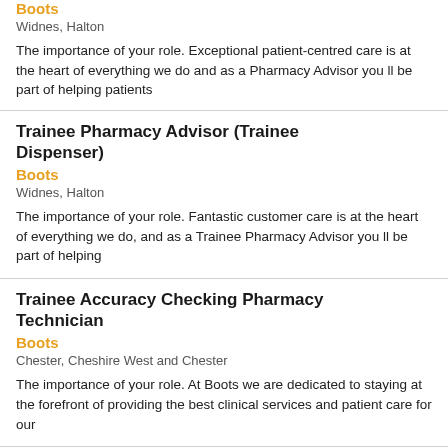Boots
Widnes, Halton
The importance of your role. Exceptional patient-centred care is at the heart of everything we do and as a Pharmacy Advisor you ll be part of helping patients
Trainee Pharmacy Advisor (Trainee Dispenser)
Boots
Widnes, Halton
The importance of your role. Fantastic customer care is at the heart of everything we do, and as a Trainee Pharmacy Advisor you ll be part of helping
Trainee Accuracy Checking Pharmacy Technician
Boots
Chester, Cheshire West and Chester
The importance of your role. At Boots we are dedicated to staying at the forefront of providing the best clinical services and patient care for our
Accuracy Checking Pharmacy Technician
Boots
Chester, Cheshire West and Chester
The importance of your role. At Boots we are dedicated to staying at the